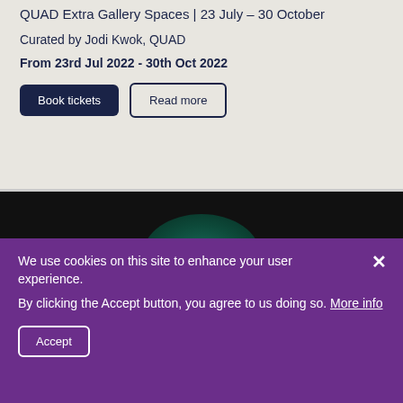QUAD Extra Gallery Spaces | 23 July – 30 October
Curated by Jodi Kwok, QUAD
From 23rd Jul 2022 - 30th Oct 2022
[Figure (screenshot): Two buttons: 'Book tickets' (dark navy filled) and 'Read more' (outlined)]
[Figure (photo): Dark background with a teal/dark green planet-like shape emerging from the bottom center]
We use cookies on this site to enhance your user experience.
By clicking the Accept button, you agree to us doing so. More info
Accept